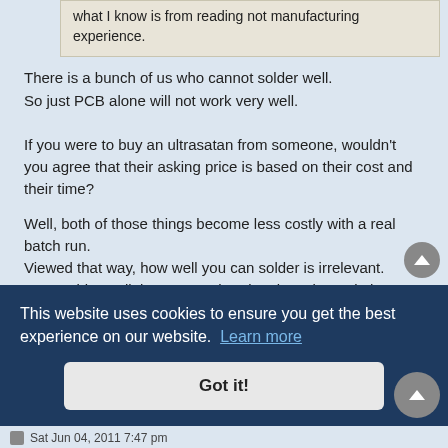what I know is from reading not manufacturing experience.
There is a bunch of us who cannot solder well.
So just PCB alone will not work very well.
If you were to buy an ultrasatan from someone, wouldn't you agree that their asking price is based on their cost and their time?
Well, both of those things become less costly with a real batch run.
Viewed that way, how well you can solder is irrelevant.
I can solder well, but can not hand make pcbs and I haven't the confidence to contract my own batch of a small run.
We would both benefit from a store of pcbs. It will encourage more builders and sellers.
This website uses cookies to ensure you get the best experience on our website.
Got it!
Sat Jun 04, 2011 7:47 pm